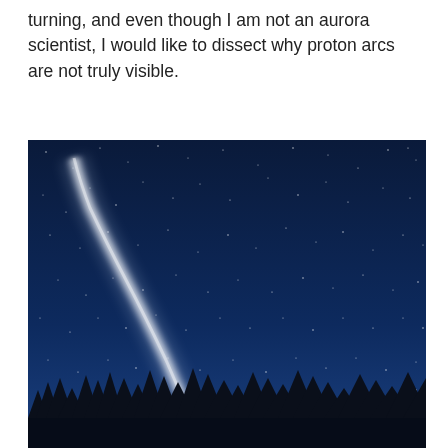turning, and even though I am not an aurora scientist, I would like to dissect why proton arcs are not truly visible.
[Figure (photo): Night sky photograph showing a faint white arc or beam of light (proton arc) stretching diagonally from lower center toward upper left against a deep blue starry sky, with dark silhouettes of coniferous trees along the bottom edge.]